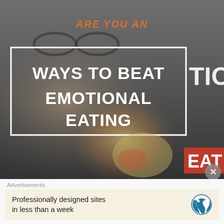[Figure (photo): Background photo of a person (face visible, wearing glasses) with a blurred/dark overlay. Center-bottom shows colorful food items. Right side shows partial text 'TION' and an orange-red box with 'EAT'. At the top, orange italic text reads 'ARE YOU AN'. A white-bordered box overlays the center with large white bold text 'WAYS TO BEAT EMOTIONAL EATING'.]
WAYS TO BEAT EMOTIONAL EATING Most of us have to hold our hands up, don't we? , I know I am an emotional eater. We're feeling down...
Advertisements
Professionally designed sites in less than a week